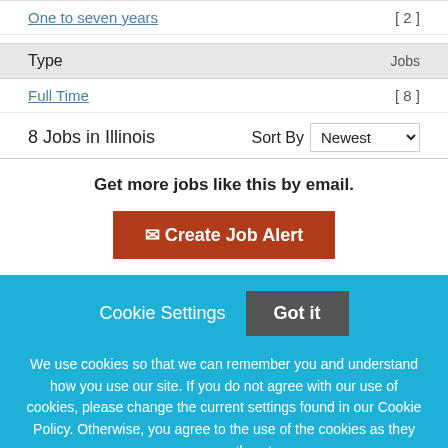One to seven years [ 2 ]
| Type | Jobs |
| --- | --- |
| Full Time | [ 8 ] |
8 Jobs in Illinois   Sort By  Newest
Get more jobs like this by email.
✉ Create Job Alert
Cookie Settings   Got it
We use cookies so that we can remember you and understand how you use our site. If you do not agree with our use of cookies, please change the current settings found in our Cookie Policy. Otherwise, you agree to the use of the cookies as they are currently set.